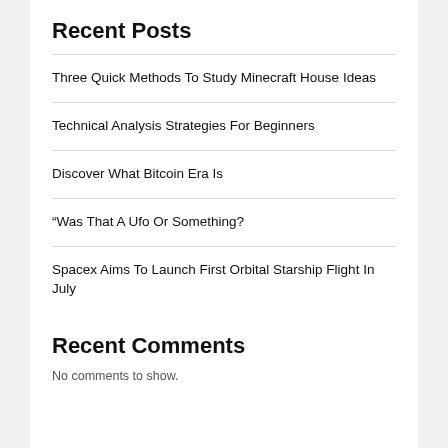Recent Posts
Three Quick Methods To Study Minecraft House Ideas
Technical Analysis Strategies For Beginners
Discover What Bitcoin Era Is
“Was That A Ufo Or Something?
Spacex Aims To Launch First Orbital Starship Flight In July
Recent Comments
No comments to show.